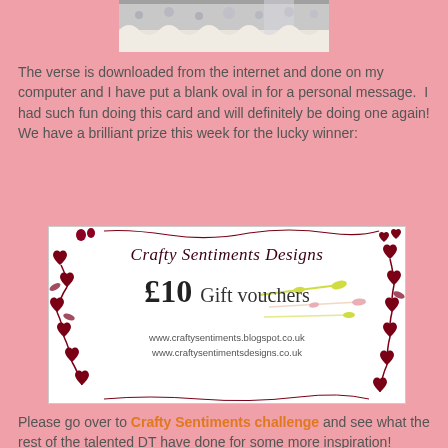[Figure (photo): Partial photo of a craft card with lace/doily detail, cropped at top]
The verse is downloaded from the internet and done on my computer and I have put a blank oval in for a personal message.  I had such fun doing this card and will definitely be doing one again!  We have a brilliant prize this week for the lucky winner:
[Figure (other): Crafty Sentiments Designs gift voucher for £10, with decorative vine and heart border, showing website URLs www.craftysentiments.blogspot.co.uk and www.craftysentimentsdesigns.co.uk]
Please go over to Crafty Sentiments challenge and see what the rest of the talented DT have done for some more inspiration!